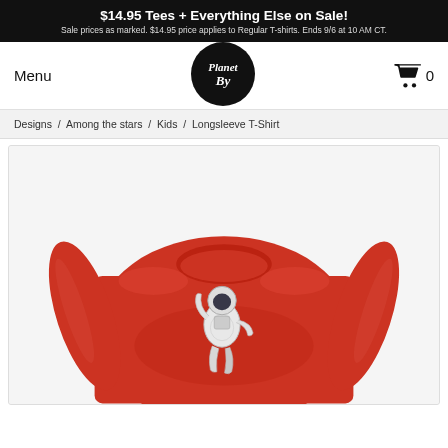$14.95 Tees + Everything Else on Sale!
Sale prices as marked. $14.95 price applies to Regular T-shirts. Ends 9/6 at 10 AM CT.
Menu
[Figure (logo): PlanetBy logo — white cursive text on black circle]
0
Designs / Among the stars / Kids / Longsleeve T-Shirt
[Figure (photo): Red kids longsleeve sweatshirt with floating astronaut graphic on chest]